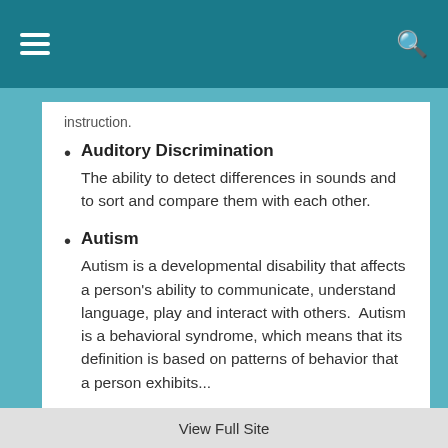[navigation bar with hamburger menu and search icon]
instruction.
Auditory Discrimination
The ability to detect differences in sounds and to sort and compare them with each other.
Autism
Autism is a developmental disability that affects a person's ability to communicate, understand language, play and interact with others. Autism is a behavioral syndrome, which means that its definition is based on patterns of behavior that a person exhibits...
View Full Site